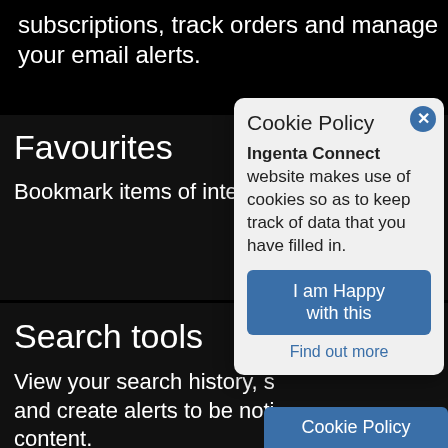subscriptions, track orders and manage your email alerts.
Favourites
Bookmark items of interest favourites list for later retri
Search tools
View your search history, s and create alerts to be noti content.
[Figure (screenshot): Cookie Policy popup overlay with close button, title 'Cookie Policy', bold text 'Ingenta Connect' followed by 'website makes use of cookies so as to keep track of data that you have filled in.', a blue 'I am Happy with this' button, and a 'Find out more' link.]
Cookie Policy
Ingenta Connect website makes use of cookies so as to keep track of data that you have filled in.
I am Happy with this
Find out more
Cookie Policy